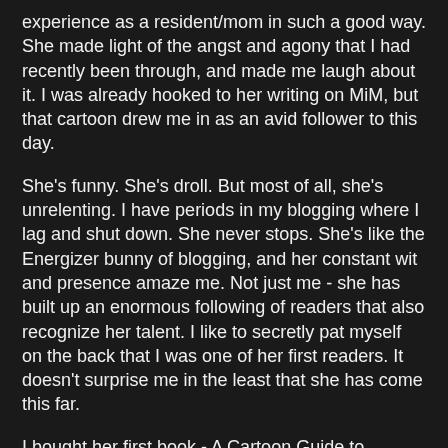experience as a resident/mom in such a good way. She made light of the angst and agony that I had recently been through, and made me laugh about it. I was already hooked to her writing on MiM, but that cartoon drew me in as an avid follower to this day.
She's funny. She's droll. But most of all, she's unrelenting. I have periods in my blogging where I lag and shut down. She never stops. She's like the Energizer bunny of blogging, and her constant wit and presence amaze me. Not just me - she has built up an enormous following of readers that also recognize her talent. I like to secretly pat myself on the back that I was one of her first readers. It doesn't surprise me in the least that she has come this far.
I bought her first book - A Cartoon Guide to Becoming a Doctor. And I had the privilege to beta read her first novel - The Devil Wears Scrubs. Do you read brain candy? I do. I don't watch brain candy on TV, but I read it religiously during stressful times in my life. Chic lit. It takes the edge off my job and my stresses and my life. The Devil Wears Scrubs is the best kind of chic lit. It draws you back into that horribly